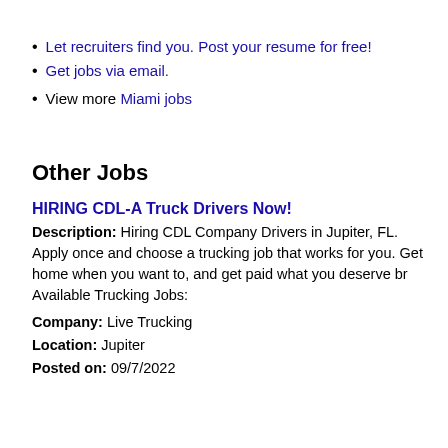Let recruiters find you. Post your resume for free!
Get jobs via email.
View more Miami jobs
Other Jobs
HIRING CDL-A Truck Drivers Now!
Description: Hiring CDL Company Drivers in Jupiter, FL. Apply once and choose a trucking job that works for you. Get home when you want to, and get paid what you deserve br Available Trucking Jobs: Company: Live Trucking Location: Jupiter Posted on: 09/7/2022